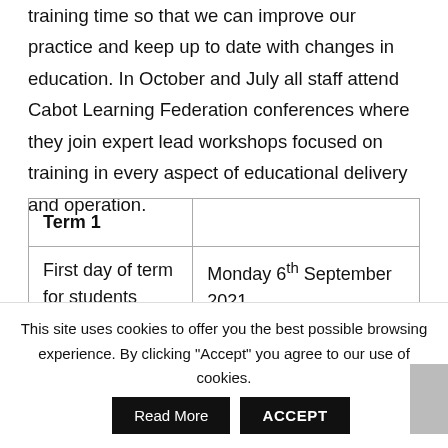training time so that we can improve our practice and keep up to date with changes in education. In October and July all staff attend Cabot Learning Federation conferences where they join expert lead workshops focused on training in every aspect of educational delivery and operation.
| Term 1 |  |
| --- | --- |
| First day of term for students | Monday 6th September 2021 |
This site uses cookies to offer you the best possible browsing experience. By clicking "Accept" you agree to our use of cookies.